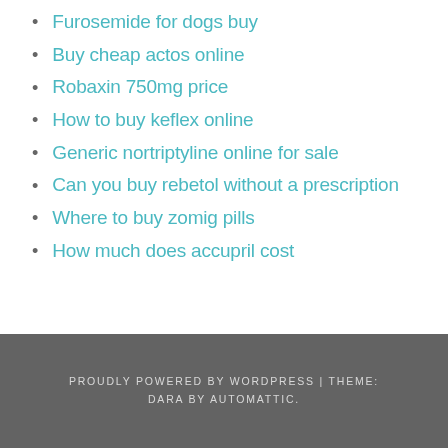Furosemide for dogs buy
Buy cheap actos online
Robaxin 750mg price
How to buy keflex online
Generic nortriptyline online for sale
Can you buy rebetol without a prescription
Where to buy zomig pills
How much does accupril cost
PROUDLY POWERED BY WORDPRESS | THEME: DARA BY AUTOMATTIC.